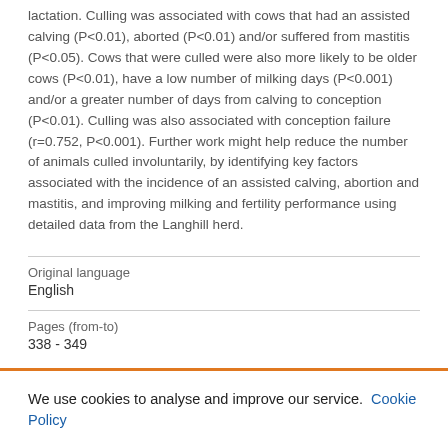lactation. Culling was associated with cows that had an assisted calving (P<0.01), aborted (P<0.01) and/or suffered from mastitis (P<0.05). Cows that were culled were also more likely to be older cows (P<0.01), have a low number of milking days (P<0.001) and/or a greater number of days from calving to conception (P<0.01). Culling was also associated with conception failure (r=0.752, P<0.001). Further work might help reduce the number of animals culled involuntarily, by identifying key factors associated with the incidence of an assisted calving, abortion and mastitis, and improving milking and fertility performance using detailed data from the Langhill herd.
Original language
English
Pages (from-to)
338 - 349
We use cookies to analyse and improve our service. Cookie Policy